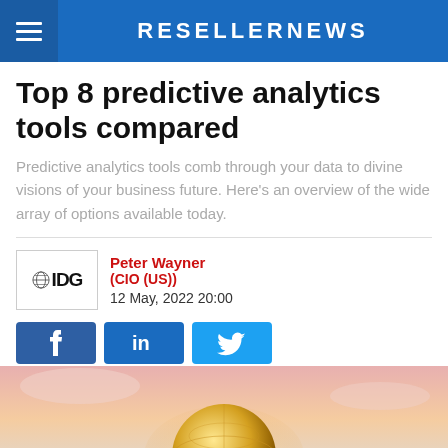RESELLERNEWS
Top 8 predictive analytics tools compared
Predictive analytics tools comb through your data to divine visions of your business future. Here's an overview of the wide array of options available today.
Peter Wayner
(CIO (US))
12 May, 2022 20:00
[Figure (photo): Hero image showing a glowing golden globe held in a hand against a pink/orange sky background.]